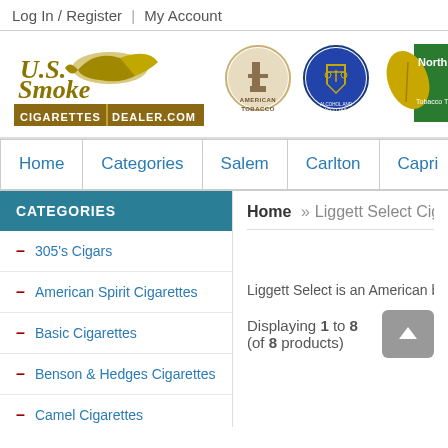Log In / Register | My Account
[Figure (logo): U.S. Smoke cigarettesdealer.com logo with eagle, American Tobacco badge, Alcohol and Tobacco Tax and Trade Bureau seal, North Carolina Tobacco Trust Fund logo]
Home | Categories | Salem | Carlton | Capri | C
CATEGORIES
305's Cigars
American Spirit Cigarettes
Basic Cigarettes
Benson & Hedges Cigarettes
Camel Cigarettes
Home » Liggett Select Cigarett
Liggett Select is an American brand of ci
Displaying 1 to 8 (of 8 products)